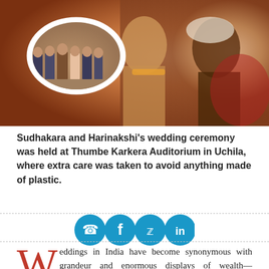[Figure (photo): Wedding ceremony photo showing a bride and groom in traditional Indian attire, with an oval inset photo showing a group of people posing together.]
Sudhakara and Harinakshi's wedding ceremony was held at Thumbe Karkera Auditorium in Uchila, where extra care was taken to avoid anything made of plastic.
[Figure (infographic): Social media sharing icons: WhatsApp, Facebook, Twitter, LinkedIn — circular teal/blue buttons.]
Weddings in India have become synonymous with grandeur and enormous displays of wealth—irrespective of which state the parties hail from.